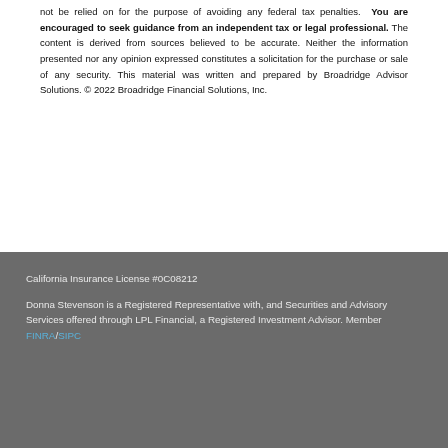not be relied on for the purpose of avoiding any federal tax penalties. You are encouraged to seek guidance from an independent tax or legal professional. The content is derived from sources believed to be accurate. Neither the information presented nor any opinion expressed constitutes a solicitation for the purchase or sale of any security. This material was written and prepared by Broadridge Advisor Solutions. © 2022 Broadridge Financial Solutions, Inc.
California Insurance License #0C08212
Donna Stevenson is a Registered Representative with, and Securities and Advisory Services offered through LPL Financial, a Registered Investment Advisor. Member FINRA/SIPC